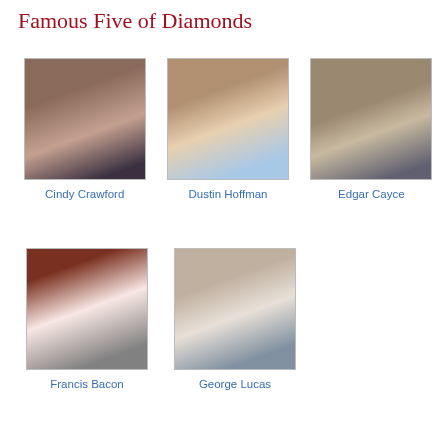Famous Five of Diamonds
[Figure (photo): Photo of Cindy Crawford, a woman with long brown hair]
Cindy Crawford
[Figure (photo): Photo of Dustin Hoffman, an older man with grey hair]
Dustin Hoffman
[Figure (photo): Black and white photo of Edgar Cayce in a suit]
Edgar Cayce
[Figure (photo): Portrait painting of Francis Bacon in historical attire with a black hat]
Francis Bacon
[Figure (photo): Photo of George Lucas with white beard and glasses]
George Lucas